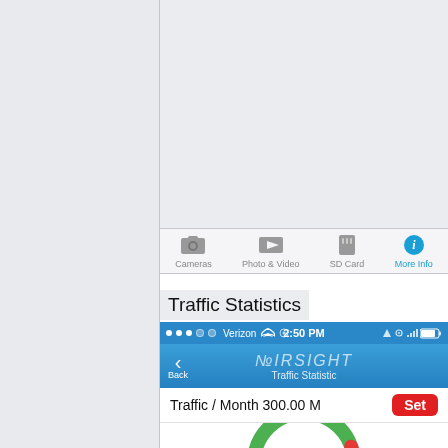[Figure (screenshot): Left gray panel area of document]
[Figure (screenshot): Mobile app screenshot showing Traffic Statistics screen with AIRSIGHT app. Verizon carrier, 2:50 PM. Shows Traffic/Month 300.00 M with a Set button, and a green donut gauge showing Used (M) This Mon...]
Traffic Statistics
[Figure (infographic): Tab bar icons: Cameras, Photo & Video, SD Card, More Info (active/blue)]